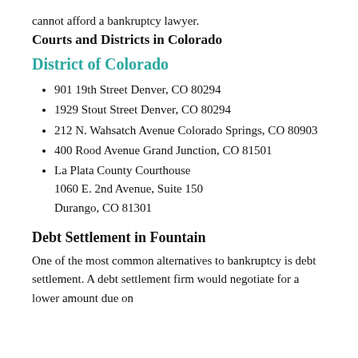cannot afford a bankruptcy lawyer.
Courts and Districts in Colorado
District of Colorado
901 19th Street Denver, CO 80294
1929 Stout Street Denver, CO 80294
212 N. Wahsatch Avenue Colorado Springs, CO 80903
400 Rood Avenue Grand Junction, CO 81501
La Plata County Courthouse 1060 E. 2nd Avenue, Suite 150 Durango, CO 81301
Debt Settlement in Fountain
One of the most common alternatives to bankruptcy is debt settlement. A debt settlement firm would negotiate for a lower amount due on